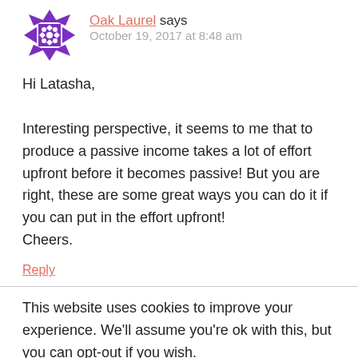[Figure (illustration): Purple geometric avatar/logo with diamond and triangle patterns]
Oak Laurel says
October 19, 2017 at 8:48 am
Hi Latasha,

Interesting perspective, it seems to me that to produce a passive income takes a lot of effort upfront before it becomes passive! But you are right, these are some great ways you can do it if you can put in the effort upfront!
Cheers.
Reply
This website uses cookies to improve your experience. We'll assume you're ok with this, but you can opt-out if you wish.
Accept   Read More